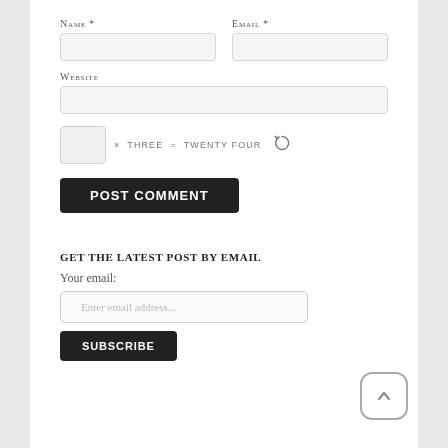Name *
[Figure (screenshot): Name text input field (empty, light gray background)]
Email *
[Figure (screenshot): Email text input field (empty, light gray background)]
Website
[Figure (screenshot): Website text input field (empty, light gray background, full width)]
[Figure (screenshot): CAPTCHA row: small input box, × THREE = TWENTY FOUR, refresh icon]
[Figure (screenshot): POST COMMENT button (dark/black, uppercase)]
GET THE LATEST POST BY EMAIL
Your email:
[Figure (screenshot): Email input field with placeholder 'Enter email address...']
[Figure (screenshot): SUBSCRIBE button (dark/black, uppercase)]
[Figure (screenshot): Scroll-to-top button (rounded square, chevron up)]